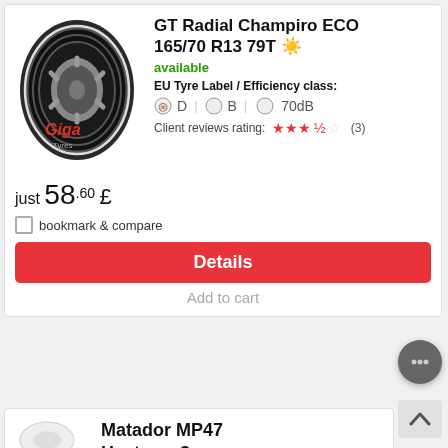[Figure (photo): GT Radial tyre product image with Giga Tyres watermark]
GT Radial Champiro ECO 165/70 R13 79T ☀
available
EU Tyre Label / Efficiency class: D | B | 70dB
Client reviews rating: ★★★½☆ (3)
just 58.60 £
bookmark & compare
Details
Add to cart
Matador MP47 Hectorra 3